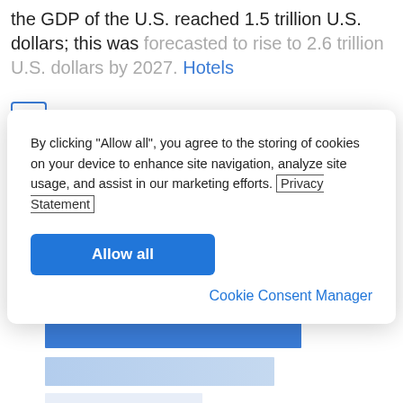the GDP of the U.S. reached 1.5 trillion U.S. dollars; this was forecasted to rise to 2.6 trillion U.S. dollars by 2027. Hotels
By clicking "Allow all", you agree to the storing of cookies on your device to enhance site navigation, analyze site usage, and assist in our marketing efforts. Privacy Statement
Allow all
Cookie Consent Manager
[Figure (bar-chart): Partial horizontal bar chart visible at the bottom of the page, showing multiple blue bars of varying lengths. Bars are partially obscured by the cookie consent overlay.]